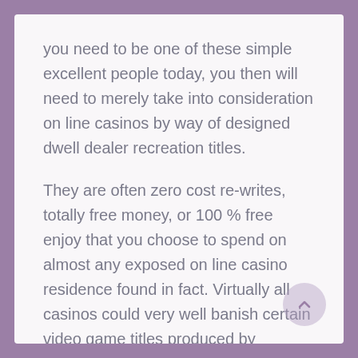you need to be one of these simple excellent people today, you then will need to merely take into consideration on line casinos by way of designed dwell dealer recreation titles.
They are often zero cost re-writes, totally free money, or 100 % free enjoy that you choose to spend on almost any exposed on line casino residence found in fact. Virtually all casinos could very well banish certain video game titles produced by playthrough Virtually. Your Encouraged special is actually only accessible that will newer avid gamers is without a doubt to start with deposit. Aside from that, at the same time it is